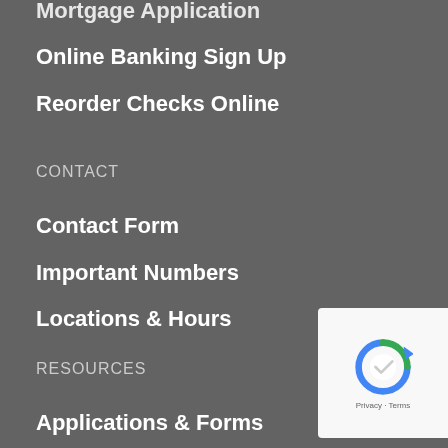Mortgage Application
Online Banking Sign Up
Reorder Checks Online
CONTACT
Contact Form
Important Numbers
Locations & Hours
RESOURCES
Applications & Forms
Deposit Insurance
Surcharge-Free ATMs
[Figure (other): Accessibility widget with contrast toggle and text resize buttons]
[Figure (other): Google reCAPTCHA badge with Privacy and Terms links]